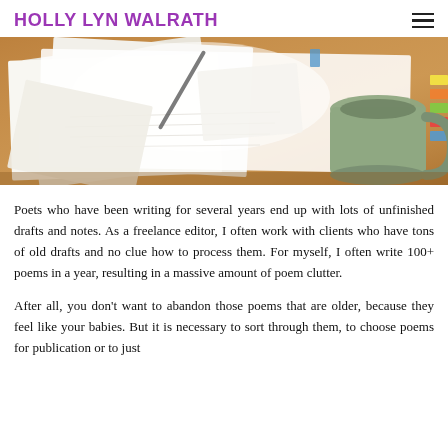HOLLY LYN WALRATH
[Figure (photo): A wooden table covered with scattered handwritten manuscript pages and notes, with a mug in the upper right corner and colorful sticky tabs visible.]
Poets who have been writing for several years end up with lots of unfinished drafts and notes. As a freelance editor, I often work with clients who have tons of old drafts and no clue how to process them. For myself, I often write 100+ poems in a year, resulting in a massive amount of poem clutter.
After all, you don't want to abandon those poems that are older, because they feel like your babies. But it is necessary to sort through them, to choose poems for publication or to just